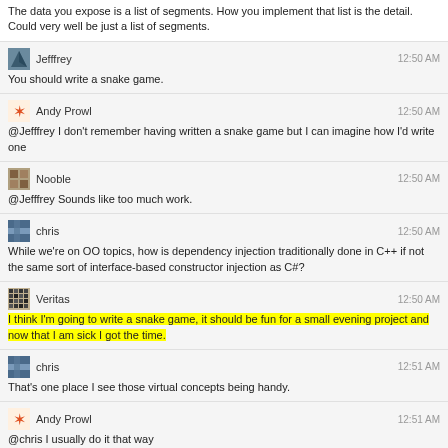The data you expose is a list of segments. How you implement that list is the detail. Could very well be just a list of segments.
Jefffrey 12:50 AM
You should write a snake game.
Andy Prowl 12:50 AM
@Jefffrey I don't remember having written a snake game but I can imagine how I'd write one
Nooble 12:50 AM
@Jefffrey Sounds like too much work.
chris 12:50 AM
While we're on OO topics, how is dependency injection traditionally done in C++ if not the same sort of interface-based constructor injection as C#?
Veritas 12:50 AM
I think I'm going to write a snake game, it should be fun for a small evening project and now that I am sick I got the time.
chris 12:51 AM
That's one place I see those virtual concepts being handy.
Andy Prowl 12:51 AM
@chris I usually do it that way
Jefffrey 12:51 AM
@Nooble Are you being sarcastic?